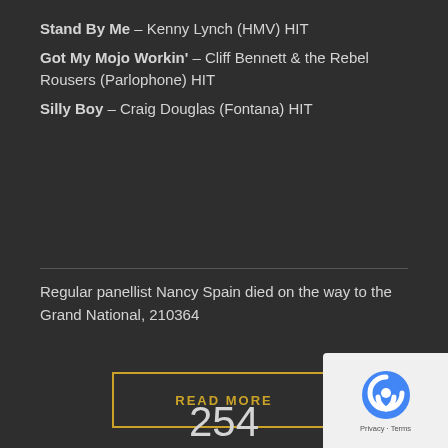Stand By Me – Kenny Lynch (HMV) HIT
Got My Mojo Workin' – Cliff Bennett & the Rebel Rousers (Parlophone) HIT
Silly Boy – Craig Douglas (Fontana) HIT
Regular panellist Nancy Spain died on the way to the Grand National, 210364
READ MORE
254